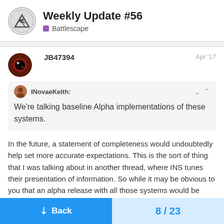Weekly Update #56 — Battlescape
JB47394   Apr '17
INovaeKeith:
We're talking baseline Alpha implementations of these systems.
In the future, a statement of completeness would undoubtedly help set more accurate expectations. This is the sort of thing that I was talking about in another thread, where INS tunes their presentation of information. So while it may be obvious to you that an alpha release with all those systems would be alpha quality for each system, saying
[quote="INovaeKeith, post:1, topic:5190"]
This will include the implementation of the
capital ships, teams, radar/sensors, turret
Back   8 / 23